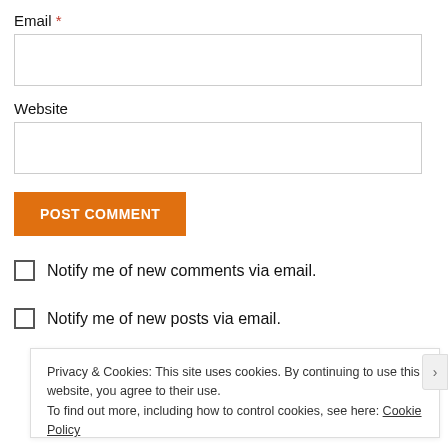Email *
[Figure (other): Empty text input field for Email]
Website
[Figure (other): Empty text input field for Website]
[Figure (other): POST COMMENT button (orange)]
Notify me of new comments via email.
Notify me of new posts via email.
Privacy & Cookies: This site uses cookies. By continuing to use this website, you agree to their use.
To find out more, including how to control cookies, see here: Cookie Policy
Close and accept